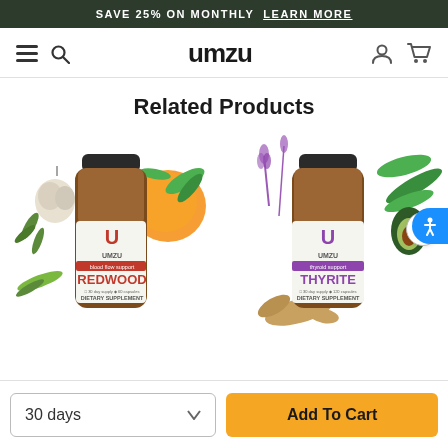SAVE 25% ON MONTHLY  LEARN MORE
[Figure (logo): UMZU brand logo and navigation bar with hamburger menu, search icon, account icon, and cart icon]
Related Products
[Figure (photo): UMZU REDWOOD dietary supplement bottle with decorative botanical and food illustrations including oranges, garlic, and herbs]
[Figure (photo): UMZU THYRITE dietary supplement bottle with decorative botanical illustrations including lavender, avocado, ginger, and greens]
30 days
Add To Cart